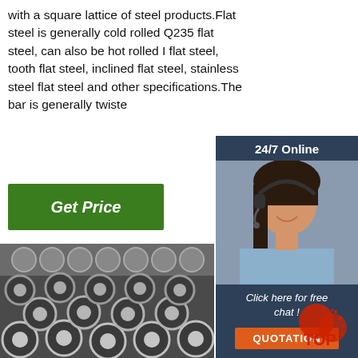with a square lattice of steel products.Flat steel is generally cold rolled Q235 flat steel, can also be hot rolled I flat steel, tooth flat steel, inclined flat steel, stainless steel flat steel and other specifications.The bar is generally twiste
[Figure (illustration): Green button labeled 'Get Price']
[Figure (photo): Customer service agent with headset, 24/7 Online badge, Click here for free chat, QUOTATION button on dark blue sidebar]
[Figure (photo): Stack of steel pipes/tubes photographed from the front showing circular hollow cross-sections]
[Figure (logo): TOP badge/logo in bottom right corner]